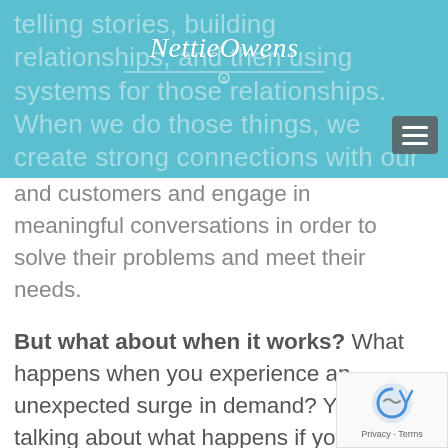[Figure (logo): Nettie Owens script logo on teal/cyan header background with faded text behind it and hamburger menu icon]
and customers and engage in meaningful conversations in order to solve their problems and meet their needs.
But what about when it works? What happens when you experience an unexpected surge in demand? Yes, I'm talking about what happens if you find yourself so busy that you are on the brink of feeling overwhelmed – or perhaps you're